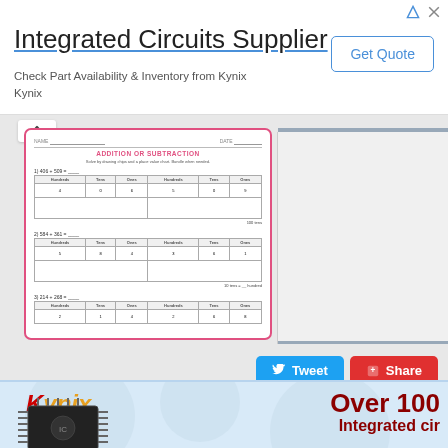[Figure (screenshot): Advertisement banner for Kynix Integrated Circuits Supplier with Get Quote button]
Integrated Circuits Supplier
Check Part Availability & Inventory from Kynix Kynix
[Figure (screenshot): Worksheet thumbnail showing Addition or Subtraction practice problems with place value tables]
[Figure (screenshot): Tweet and Share social media buttons]
[Figure (screenshot): Kynix advertisement banner showing logo, chip image, and text Over 100 Integrated circuits]